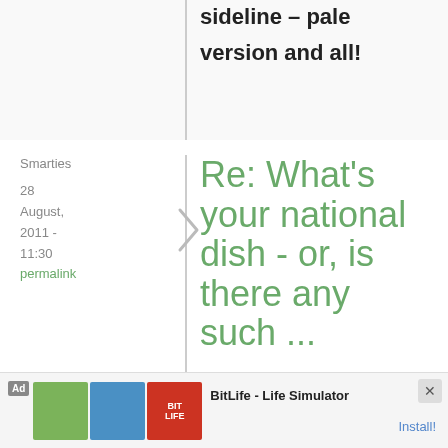sideline – pale version and all!
Smarties
28 August, 2011 - 11:30
permalink
Re: What's your national dish - or, is there any such ...
In Norway the national dish is fårikål. Fårikål literally...
[Figure (other): BitLife - Life Simulator advertisement banner at bottom of page]